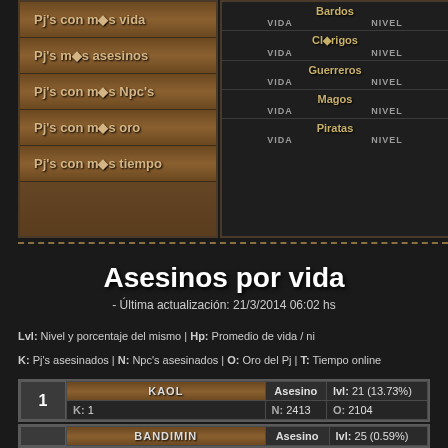Pj's con más vida
Pj's más asesinos
Pj's con más Npc's
Pj's con más oro
Pj's con más tiempo
| Class | VIDA | NIVEL |
| --- | --- | --- |
| Bardos |  |  |
| Clérigos |  |  |
| Guerreros |  |  |
| Magos |  |  |
| Piratas |  |  |
Asesinos por vida
- Última actualización: 21/3/2014 06:02 hs
Lvl: Nivel y porcentaje del mismo | Hp: Promedio de vida / ni...
K: Pj's asesinados | N: Npc's asesinados | O: Oro del Pj | T: Tiempo online
| # | Nombre | Clase | lvl | K | N | O | T |
| --- | --- | --- | --- | --- | --- | --- | --- |
| 1 | KAOL | Asesino | lvl: 21 (13.73%) | K: 1 | N: 2413 | O: 2104 | T: 5... |
| 2 | BANDIMIN | Asesino | lvl: 25 (0.59%...) |  |  |  |  |